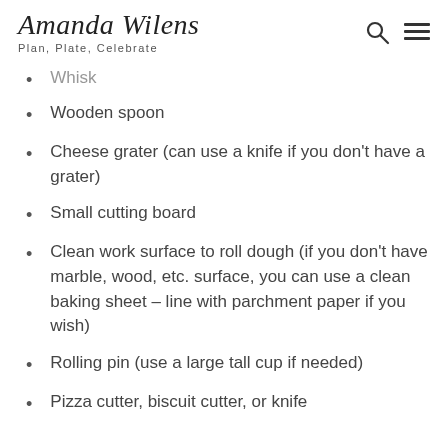Amanda Wilens — Plan, Plate, Celebrate
Whisk
Wooden spoon
Cheese grater (can use a knife if you don't have a grater)
Small cutting board
Clean work surface to roll dough (if you don't have marble, wood, etc. surface, you can use a clean baking sheet – line with parchment paper if you wish)
Rolling pin (use a large tall cup if needed)
Pizza cutter, biscuit cutter, or knife